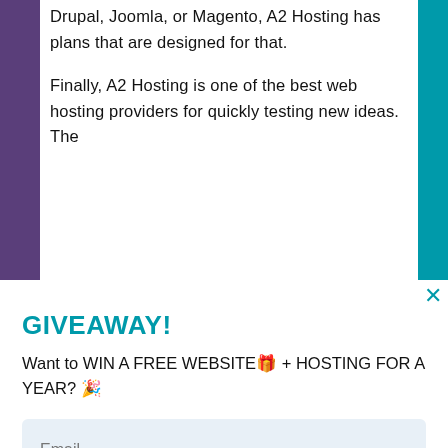Drupal, Joomla, or Magento, A2 Hosting has plans that are designed for that.

Finally, A2 Hosting is one of the best web hosting providers for quickly testing new ideas. The
GIVEAWAY!
Want to WIN A FREE WEBSITE🎁 + HOSTING FOR A YEAR? 🎉
Email
SHOW ME!